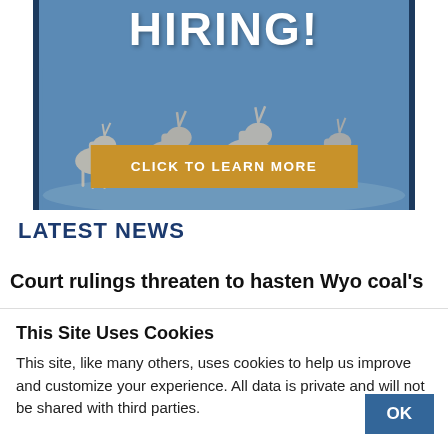[Figure (illustration): Banner advertisement showing 'HIRING!' text over a blue background with antelope silhouettes and a gold 'CLICK TO LEARN MORE' button]
LATEST NEWS
Court rulings threaten to hasten Wyo coal's
This Site Uses Cookies
This site, like many others, uses cookies to help us improve and customize your experience. All data is private and will not be shared with third parties.